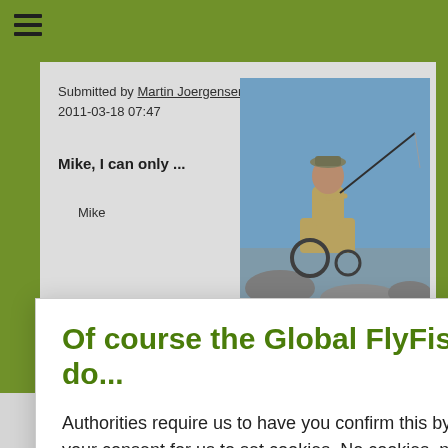[Figure (screenshot): Green navigation bar at top with hamburger menu icon (three horizontal lines)]
Submitted by Martin Joergensen on Fri, 2011-03-18 07:47
Mike, I can only ...
Mike
[Figure (photo): Person in a wheelchair fishing at a rocky shoreline, holding a fishing rod]
Of course the Global FlyFisher uses cookies! All sites do...
Authorities require us to have you confirm this by clicking any link on this page. You are then giving your consent for us to set cookies. No cookies, no GFF!
More about privacy and cookies
OK, I agree